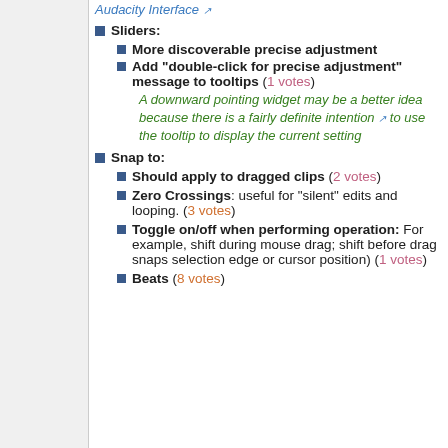Audacity Interface [external link]
Sliders:
More discoverable precise adjustment
Add "double-click for precise adjustment" message to tooltips (1 votes)
A downward pointing widget may be a better idea because there is a fairly definite intention [external link] to use the tooltip to display the current setting
Snap to:
Should apply to dragged clips (2 votes)
Zero Crossings: useful for "silent" edits and looping. (3 votes)
Toggle on/off when performing operation: For example, shift during mouse drag; shift before drag snaps selection edge or cursor position) (1 votes)
Beats (8 votes)